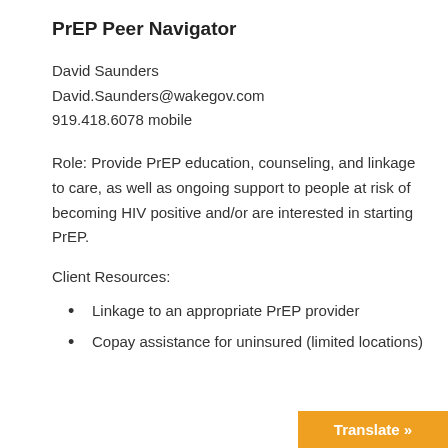PrEP Peer Navigator
David Saunders
David.Saunders@wakegov.com
919.418.6078 mobile
Role: Provide PrEP education, counseling, and linkage to care, as well as ongoing support to people at risk of becoming HIV positive and/or are interested in starting PrEP.
Client Resources:
Linkage to an appropriate PrEP provider
Copay assistance for uninsured (limited locations)